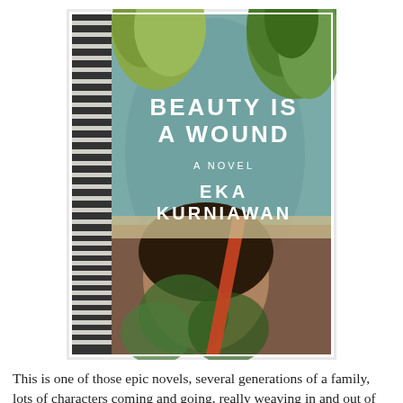[Figure (illustration): Book cover of 'Beauty Is a Wound' by Eka Kurniawan. A collage-style cover featuring tropical vegetation, a teal/blue background with a female figure visible in the lower half, and a striped spine on the left. White text reads 'BEAUTY IS A WOUND', 'A NOVEL', 'EKA KURNIAWAN'.]
This is one of those epic novels, several generations of a family, lots of characters coming and going, really weaving in and out of the narrative.  Mixed in is a history of Indonesia, as a Dutch colony, through the Japanese occupation, then the Communist revolts.  The story also contains elements of